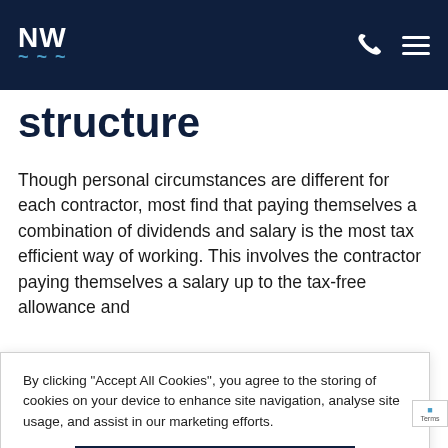NW
structure
Though personal circumstances are different for each contractor, most find that paying themselves a combination of dividends and salary is the most tax efficient way of working. This involves the contractor paying themselves a salary up to the tax-free allowance and
By clicking “Accept All Cookies”, you agree to the storing of cookies on your device to enhance site navigation, analyse site usage, and assist in our marketing efforts.
Accept All Cookies
Reject